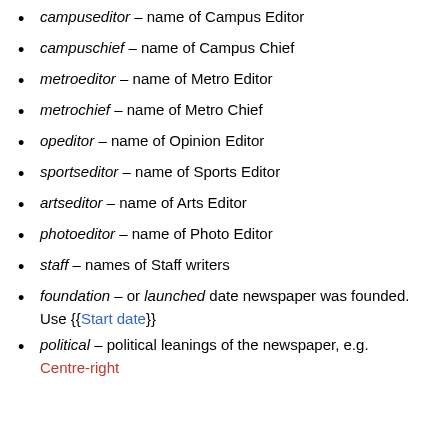campuseditor – name of Campus Editor
campuschief – name of Campus Chief
metroeditor – name of Metro Editor
metrochief – name of Metro Chief
opeditor – name of Opinion Editor
sportseditor – name of Sports Editor
artseditor – name of Arts Editor
photoeditor – name of Photo Editor
staff – names of Staff writers
foundation – or launched date newspaper was founded. Use {{Start date}}
political – political leanings of the newspaper, e.g. Centre-right